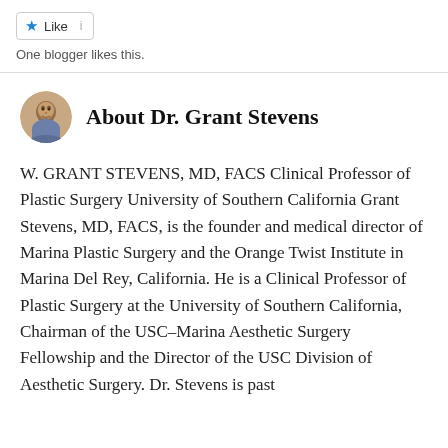[Figure (other): Like button with star icon and count indicators]
One blogger likes this.
About Dr. Grant Stevens
W. GRANT STEVENS, MD, FACS Clinical Professor of Plastic Surgery University of Southern California Grant Stevens, MD, FACS, is the founder and medical director of Marina Plastic Surgery and the Orange Twist Institute in Marina Del Rey, California. He is a Clinical Professor of Plastic Surgery at the University of Southern California, Chairman of the USC–Marina Aesthetic Surgery Fellowship and the Director of the USC Division of Aesthetic Surgery. Dr. Stevens is past